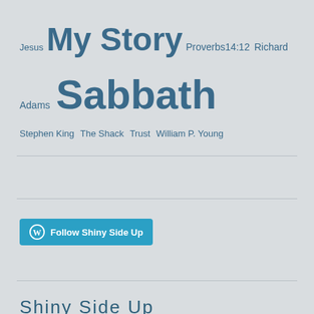Jesus  My Story  Proverbs14:12  Richard Adams  Sabbath  Stephen King  The Shack  Trust  William P. Young
[Figure (other): Follow Shiny Side Up WordPress follow button]
Shiny Side Up
Follow Blog via Email